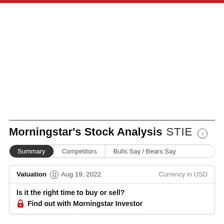Morningstar's Stock Analysis STIE
Summary | Competitors | Bulls Say / Bears Say
Valuation Aug 19, 2022 Currency in USD
Is it the right time to buy or sell? Find out with Morningstar Investor